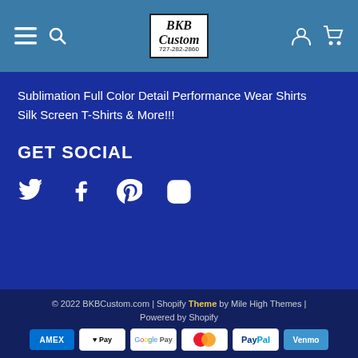[Figure (logo): BKB Custom logo with phone number 727-282-2860 in a bordered box, navigation bar with hamburger menu, search icon, user icon, and cart icon]
Sublimation Full Color Detail Performance Wear Shirts
Silk Screen T-Shirts & More!!!
GET SOCIAL
[Figure (illustration): Social media icons: Twitter, Facebook, Pinterest, Instagram]
© 2022 BKBCustomom.com | Shopify Theme by Mile High Themes | Powered by Shopify
[Figure (other): Payment method icons: American Express, Apple Pay, Google Pay, Mastercard, PayPal, Venmo]